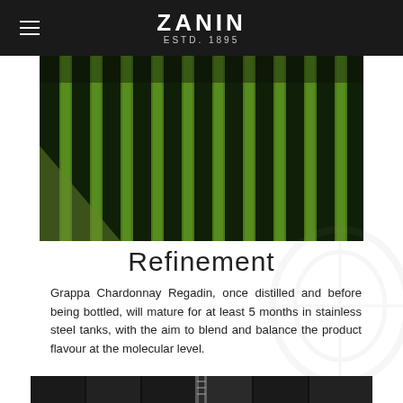ZANIN ESTD. 1895
[Figure (photo): Aerial view of vineyard rows with lush green grape vines against dark soil, shot from above at an angle]
Refinement
Grappa Chardonnay Regadin, once distilled and before being bottled, will mature for at least 5 months in stainless steel tanks, with the aim to blend and balance the product flavour at the molecular level.
[Figure (photo): Interior of stainless steel tank facility, showing industrial distillery equipment with stairs and large cylindrical tanks]